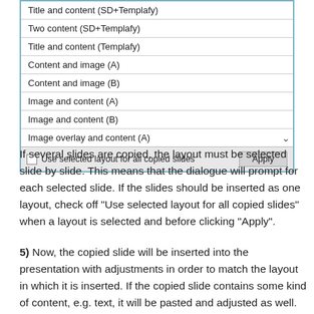[Figure (screenshot): A dialog listbox showing layout options including 'Title and content (SD+Templafy)', 'Two content (SD+Templafy)', 'Title and content (Templafy)', 'Content and image (A)', 'Content and image (B)', 'Image and content (A)', 'Image and content (B)', 'Image overlay and content (A)', with a scrollbar and a footer row containing a checkbox labeled 'Use selected layout for all copied slides' and an 'Apply' button.]
If several slides are copied, the layout must be selected slide by slide. This means that the dialogue will prompt for each selected slide. If the slides should be inserted as one layout, check off "Use selected layout for all copied slides" when a layout is selected and before clicking "Apply".
5) Now, the copied slide will be inserted into the presentation with adjustments in order to match the layout in which it is inserted. If the copied slide contains some kind of content, e.g. text, it will be pasted and adjusted as well.